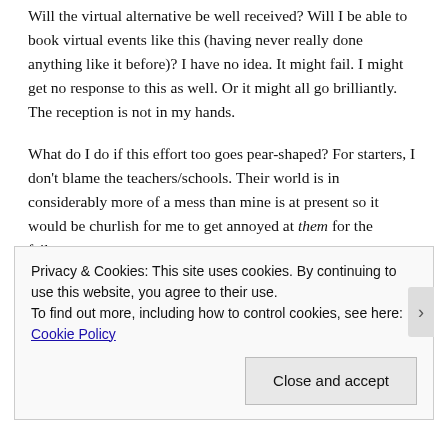Will the virtual alternative be well received? Will I be able to book virtual events like this (having never really done anything like it before)? I have no idea. It might fail. I might get no response to this as well. Or it might all go brilliantly. The reception is not in my hands.
What do I do if this effort too goes pear-shaped? For starters, I don't blame the teachers/schools. Their world is in considerably more of a mess than mine is at present so it would be churlish for me to get annoyed at them for the failure.
Instead, I have to step back and look at each initiative as a
Privacy & Cookies: This site uses cookies. By continuing to use this website, you agree to their use.
To find out more, including how to control cookies, see here: Cookie Policy